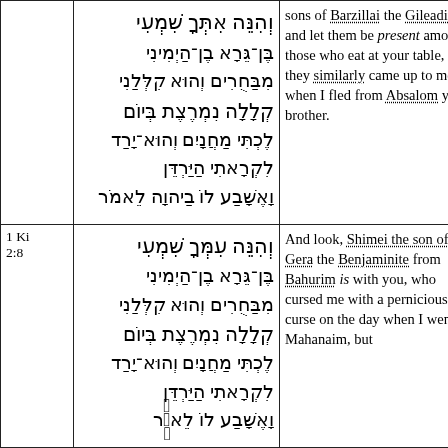| Ref | Hebrew | English |
| --- | --- | --- |
|  | Hebrew text (2 Sam 19) | sons of Barzillai the Gileadite and let them be present among those who eat at your table, for they similarly came up to me when I fled from Absalom your brother. |
| 1 Ki 2:8 | Hebrew text (1 Ki 2:8) | And look, Shimei the son of Gera the Benjaminite from Bahurim is with you, who cursed me with a pernicious curse on the day when I went to Mahanaim, but... |